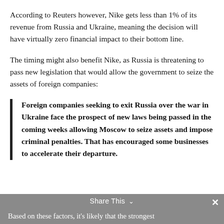According to Reuters however, Nike gets less than 1% of its revenue from Russia and Ukraine, meaning the decision will have virtually zero financial impact to their bottom line.
The timing might also benefit Nike, as Russia is threatening to pass new legislation that would allow the government to seize the assets of foreign companies:
Foreign companies seeking to exit Russia over the war in Ukraine face the prospect of new laws being passed in the coming weeks allowing Moscow to seize assets and impose criminal penalties. That has encouraged some businesses to accelerate their departure.
Share This  Based on these factors, it's likely that the strongest